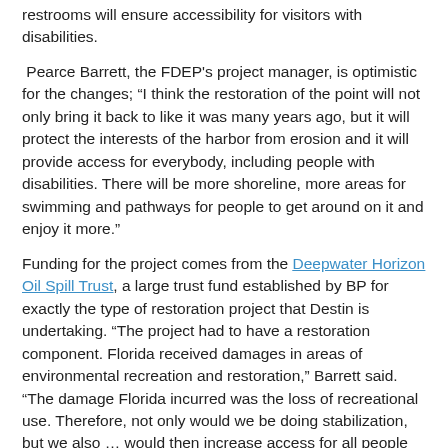restrooms will ensure accessibility for visitors with disabilities.
Pearce Barrett, the FDEP's project manager, is optimistic for the changes; “I think the restoration of the point will not only bring it back to like it was many years ago, but it will protect the interests of the harbor from erosion and it will provide access for everybody, including people with disabilities. There will be more shoreline, more areas for swimming and pathways for people to get around on it and enjoy it more.”
Funding for the project comes from the Deepwater Horizon Oil Spill Trust, a large trust fund established by BP for exactly the type of restoration project that Destin is undertaking. “The project had to have a restoration component. Florida received damages in areas of environmental recreation and restoration,” Barrett said. “The damage Florida incurred was the loss of recreational use. Therefore, not only would we be doing stabilization, but we also … would then increase access for all people and all abilities.”